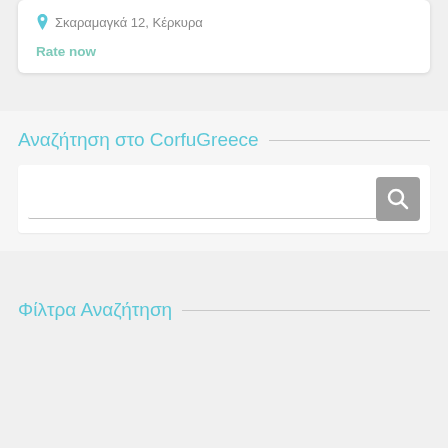Σκαραμαγκά 12, Κέρκυρα
Rate now
Αναζήτηση στο CorfuGreece
[Figure (screenshot): Search input box with a search button (magnifying glass icon) on the right]
Φίλτρα Αναζήτηση